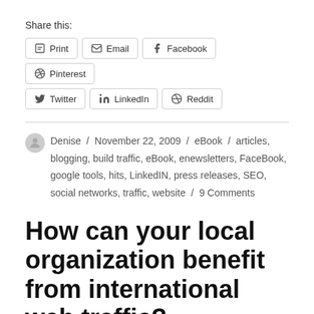Share this:
Print
Email
Facebook
Pinterest
Twitter
LinkedIn
Reddit
Denise / November 22, 2009 / eBook / articles, blogging, build traffic, eBook, enewsletters, FaceBook, google tools, hits, LinkedIN, press releases, SEO, social networks, traffic, website / 9 Comments
How can your local organization benefit from international web traffic?